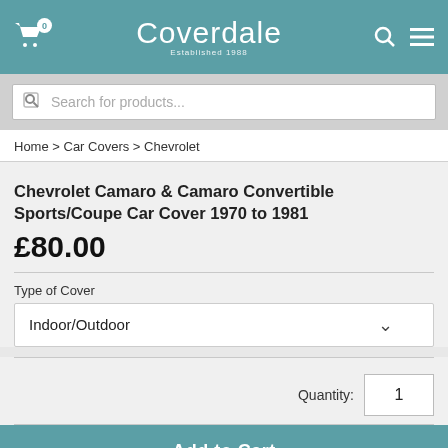Coverdale Established 1988
Search for products...
Home > Car Covers > Chevrolet
Chevrolet Camaro & Camaro Convertible Sports/Coupe Car Cover 1970 to 1981
£80.00
Type of Cover
Indoor/Outdoor
Quantity: 1
Add to Cart